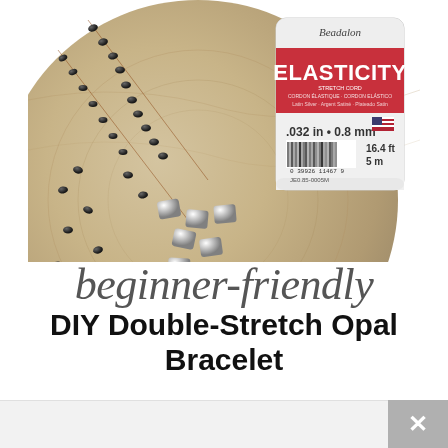[Figure (photo): Photo of beading supplies on a wooden surface: dark opal beads, silver cube beads, and a spool of Beadalon Elasticity stretch cord (0.032 in / 0.8 mm, 16.4 ft / 5 m, satin silver) with a pink/red label, overlaid with cursive and bold text titles.]
beginner-friendly DIY Double-Stretch Opal Bracelet